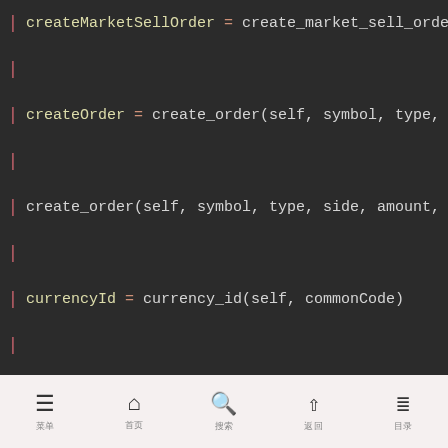[Figure (screenshot): Code viewer showing a list of API method definitions in a dark-themed monospace interface. Lines include: createMarketSellOrder = create_market_sell_orde, createOrder = create_order(self, symbol, type,, create_order(self, symbol, type, side, amount,, currencyId = currency_id(self, commonCode), currencyToPrecision = currency_to_precision(se, defineRestApi = define_rest_api(api, method_na, describe(self), editLimitBuyOrder = edit_limit_buy_order(self,, editLimitOrder = edit_limit_order(self, id, sy, editLimitSellOrder = edit_limit_sell_order(sel]
菜单  首页  搜索  返回  目录